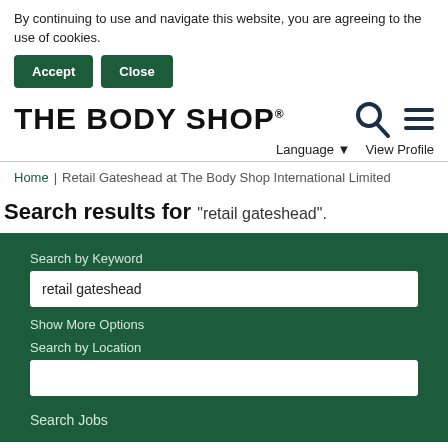By continuing to use and navigate this website, you are agreeing to the use of cookies.
Accept | Close
[Figure (logo): The Body Shop logo with registered trademark symbol]
Language ▼   View Profile
Home | Retail Gateshead at The Body Shop International Limited
Search results for "retail gateshead".
Search by Keyword
retail gateshead
Show More Options
Search by Location
Search Jobs